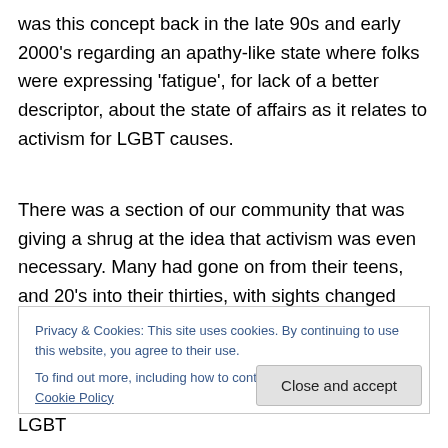was this concept back in the late 90s and early 2000's regarding an apathy-like state where folks were expressing ‘fatigue’, for lack of a better descriptor, about the state of affairs as it relates to activism for LGBT causes.
There was a section of our community that was giving a shrug at the idea that activism was even necessary. Many had gone on from their teens, and 20’s into their thirties, with sights changed and moving on with family/partnering and getting on with the business of careers, accumulating
Privacy & Cookies: This site uses cookies. By continuing to use this website, you agree to their use.
To find out more, including how to control cookies, see here: Cookie Policy
Close and accept
topic. At the time, I was the interim Director of the LGBT